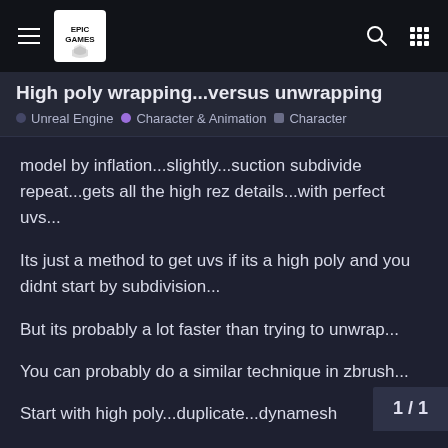High poly wrapping...versus unwrapping | Unreal Engine • Character & Animation • Character
High poly wrapping...versus unwrapping
model by inflation...slightly...suction subdivide repeat...gets all the high rez details...with perfect uvs...
Its just a method to get uvs if its a high poly and you didnt start by subdivision...
But its probably a lot faster than trying to unwrap...
You can probably do a similar technique in zbrush...
Start with high poly...duplicate...dynamesh duplicate...unwrap duplicate...project farthest... subdivide...inflate 1...project farthest...rinse repeat ...all the way up to your resolution...
1 / 1